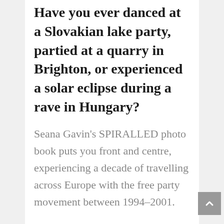Have you ever danced at a Slovakian lake party, partied at a quarry in Brighton, or experienced a solar eclipse during a rave in Hungary?
Seana Gavin's SPIRALLED photo book puts you front and centre, experiencing a decade of travelling across Europe with the free party movement between 1994–2001.